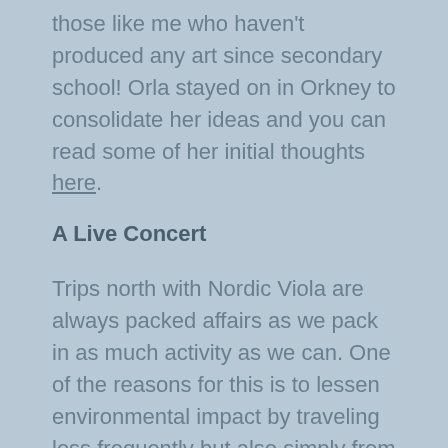those like me who haven't produced any art since secondary school! Orla stayed on in Orkney to consolidate her ideas and you can read some of her initial thoughts here.
A Live Concert
Trips north with Nordic Viola are always packed affairs as we pack in as much activity as we can. One of the reasons for this is to lessen environmental impact by traveling less frequently but also simply from a desire to make the most of our time in the islands.
And so Gemma and I collaborated with Orkney Arts Society to give one of the first live events in Scotland since lockdown ended. I cannot even begin to explain to you how sweet it felt to play